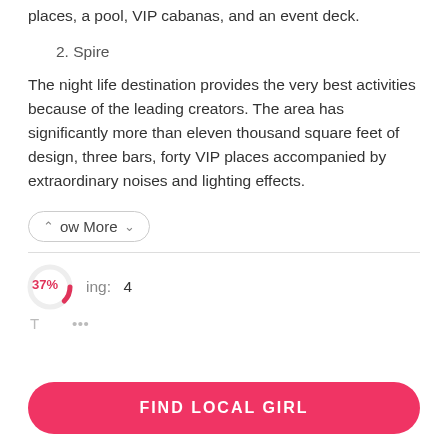places, a pool, VIP cabanas, and an event deck.
2. Spire
The night life destination provides the very best activities because of the leading creators. The area has significantly more than eleven thousand square feet of design, three bars, forty VIP places accompanied by extraordinary noises and lighting effects.
︿ ow More ∨
37%
ing:  4
FIND LOCAL GIRL